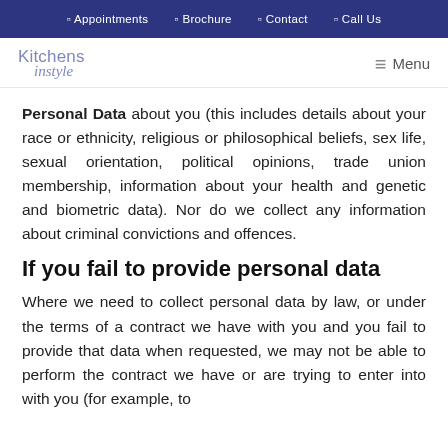Appointments  Brochure  Contact  Call Us
[Figure (logo): Kitchens instyle logo in purple/blue color]
Personal Data about you (this includes details about your race or ethnicity, religious or philosophical beliefs, sex life, sexual orientation, political opinions, trade union membership, information about your health and genetic and biometric data). Nor do we collect any information about criminal convictions and offences.
If you fail to provide personal data
Where we need to collect personal data by law, or under the terms of a contract we have with you and you fail to provide that data when requested, we may not be able to perform the contract we have or are trying to enter into with you (for example, to